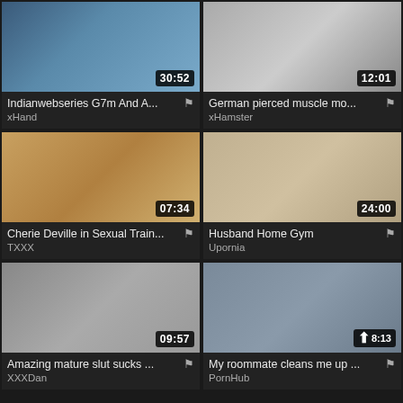[Figure (screenshot): Video thumbnail grid with 6 adult video entries showing thumbnails, durations, titles, and source names]
Indianwebseries G7m And A...
xHand
German pierced muscle mo...
xHamster
Cherie Deville in Sexual Train...
TXXX
Husband Home Gym
Upornia
Amazing mature slut sucks ...
XXXDan
My roommate cleans me up ...
PornHub